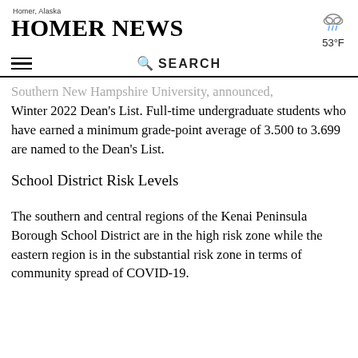Homer News — Homer, Alaska — 53°F
Southern New Hampshire University, announced, Winter 2022 Dean's List. Full-time undergraduate students who have earned a minimum grade-point average of 3.500 to 3.699 are named to the Dean's List.
School District Risk Levels
The southern and central regions of the Kenai Peninsula Borough School District are in the high risk zone while the eastern region is in the substantial risk zone in terms of community spread of COVID-19.